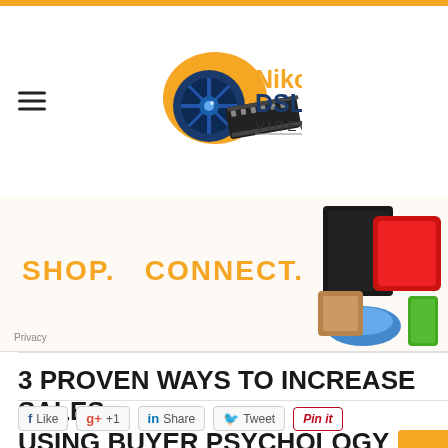[Figure (logo): NikonDSLR Video logo with orange camera and film reel graphic, text 'NikonDSLR VIDEO']
[Figure (infographic): Advertisement banner with orange text 'SHOP. CONNECT. ENJOY.' and product images (gaming console, bag, shoes, kitchen appliance) on the right]
3 PROVEN WAYS TO INCREASE SALES USING BUYER PSYCHOLOGY
[Figure (infographic): Social sharing buttons: Like, +1, Share, Tweet, Pin it]